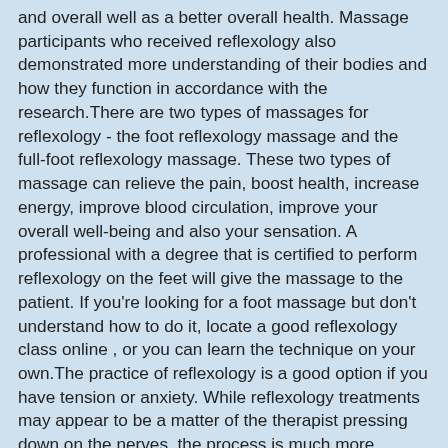and overall well as a better overall health. Massage participants who received reflexology also demonstrated more understanding of their bodies and how they function in accordance with the research.There are two types of massages for reflexology - the foot reflexology massage and the full-foot reflexology massage. These two types of massage can relieve the pain, boost health, increase energy, improve blood circulation, improve your overall well-being and also your sensation. A professional with a degree that is certified to perform reflexology on the feet will give the massage to the patient. If you're looking for a foot massage but don't understand how to do it, locate a good reflexology class online , or you can learn the technique on your own.The practice of reflexology is a good option if you have tension or anxiety. While reflexology treatments may appear to be a matter of the therapist pressing down on the nerves, the process is much more complex. Many people report that they feel more relaxed upon having a foot massage compared to following a traditional massage. It is due to the fact that natural massage techniques help reduce stress and anxiety.The body can enter defensive mode when we feel overwhelmed or anxious. Our body goes into defense mode when we feel threats lurking around us so we get tense and experience a variety of pain, aches, pains and other signs. The best way to relieve tension from your body and release anxiety by learning reflexology. Reflexologists can help you also exercise in body's systems from the body. Reflexology is